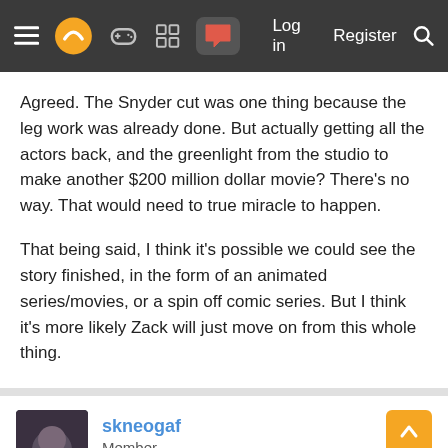Navigation bar with menu, logo, game controller, grid, chat icons, Log in, Register, Search
Agreed. The Snyder cut was one thing because the leg work was already done. But actually getting all the actors back, and the greenlight from the studio to make another $200 million dollar movie? There's no way. That would need to true miracle to happen.

That being said, I think it's possible we could see the story finished, in the form of an animated series/movies, or a spin off comic series. But I think it's more likely Zack will just move on from this whole thing.
skneogaf
Member
Mar 21, 2021
I'd love the sequels to happen and the new batman to